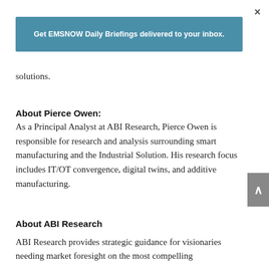[Figure (other): Close button (×) in top right corner]
[Figure (other): Blue banner button: Get EMSNOW Daily Briefings delivered to your inbox.]
solutions.
About Pierce Owen:
As a Principal Analyst at ABI Research, Pierce Owen is responsible for research and analysis surrounding smart manufacturing and the Industrial Solution. His research focus includes IT/OT convergence, digital twins, and additive manufacturing.
About ABI Research
ABI Research provides strategic guidance for visionaries needing market foresight on the most compelling